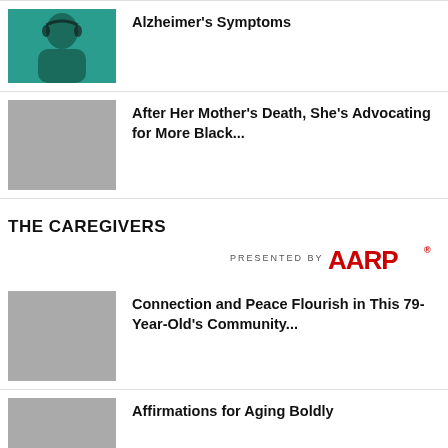[Figure (photo): Young woman with headphones against teal background]
Alzheimer's Symptoms
[Figure (photo): Gray placeholder thumbnail]
After Her Mother's Death, She's Advocating for More Black...
THE CAREGIVERS
[Figure (logo): PRESENTED BY AARP logo]
[Figure (photo): Gray placeholder thumbnail]
Connection and Peace Flourish in This 79-Year-Old's Community...
[Figure (photo): Gray placeholder thumbnail]
Affirmations for Aging Boldly
[Figure (photo): Gray placeholder thumbnail]
Yes, Your Living Space Can Be a Source of Comfort and Peace